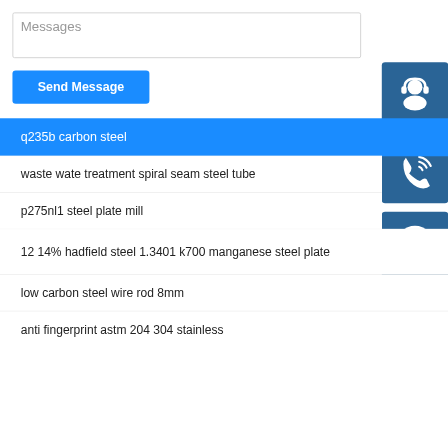Messages
Send Message
q235b carbon steel
waste wate treatment spiral seam steel tube
p275nl1 steel plate mill
12 14% hadfield steel 1.3401 k700 manganese steel plate
low carbon steel wire rod 8mm
anti fingerprint astm 204 304 stainless
[Figure (illustration): Customer support headset icon on dark blue square button]
[Figure (illustration): Phone call icon on dark blue square button]
[Figure (illustration): Skype logo icon on dark blue square button]